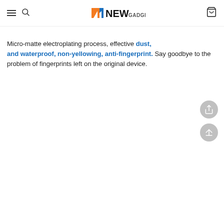NEW GADGETST [logo with nav icons]
Micro-matte electroplating process, effective dust, and waterproof, non-yellowing, anti-fingerprint. Say goodbye to the problem of fingerprints left on the original device.